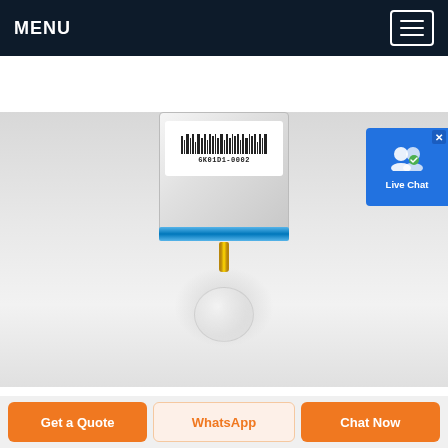MENU
[Figure (photo): Close-up photo of a cylindrical electronic sensor (PIR/gas sensor) with barcode label reading '6K01D1-0002', a blue ring at the base, and a gold pin at the bottom, on a light gray background. A dome/lens is partially visible below.]
[Figure (screenshot): Live Chat widget badge with user icon and checkmark, blue background, top-right corner overlay.]
HCSR501 PIR Sensor Working, ...
Sep 18, 2017· HCSR501 PIR Sensor. 18 September 2017 0 Comments. HCSR501 PIR Sensor. PIR Sensor Pin Diagram . Pin
Get a Quote | WhatsApp | Chat Now